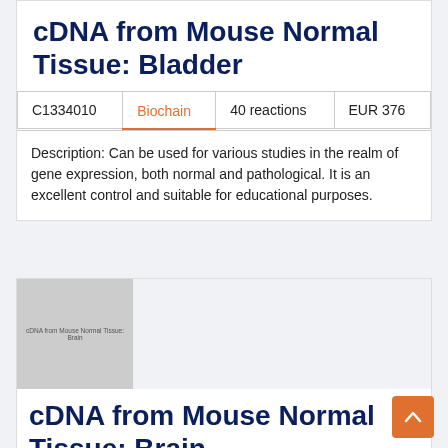cDNA from Mouse Normal Tissue: Bladder
| C1334010 | Biochain | 40 reactions | EUR 376 |
| --- | --- | --- | --- |
Description: Can be used for various studies in the realm of gene expression, both normal and pathological. It is an excellent control and suitable for educational purposes.
[Figure (photo): Product image placeholder for cDNA from Mouse Normal Tissue: Brain — grey square with small text overlay]
cDNA from Mouse Normal Tissue: Brain
| C1334035 | Biochain | 40 reactions | EUR 376 |
| --- | --- | --- | --- |